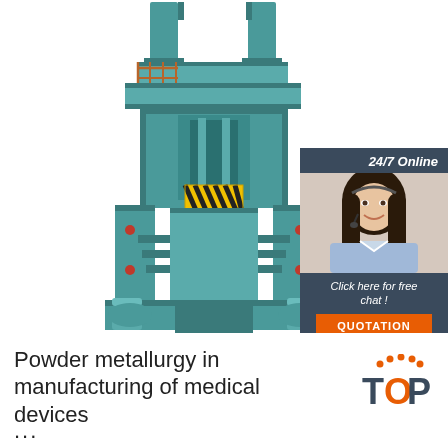[Figure (photo): Large industrial hydraulic press / powder metallurgy machine in teal/green color with rust-colored railings and yellow-black hazard stripes, on white background]
[Figure (illustration): Chat widget overlay: dark blue-gray header with '24/7 Online' text, photo of smiling woman with headset, dark footer with 'Click here for free chat!' text and orange QUOTATION button]
Powder metallurgy in manufacturing of medical devices ...
[Figure (logo): TOP logo with orange dots above and orange letter O in TOP, dark navy text T_P]